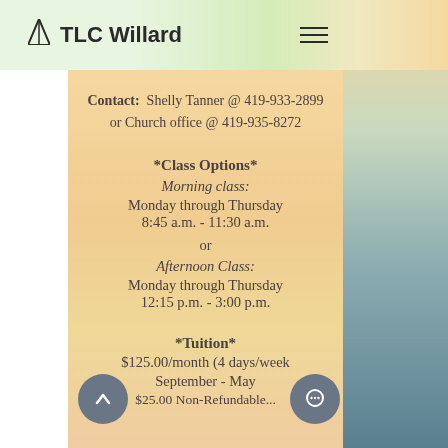TLC Willard
Contact: Shelly Tanner @ 419-933-2899 or Church office @ 419-935-8272
*Class Options*
Morning class:
Monday through Thursday
8:45 a.m. - 11:30 a.m.
or
Afternoon Class:
Monday through Thursday
12:15 p.m. - 3:00 p.m.
*Tuition*
$125.00/month (4 days/week)
September - May